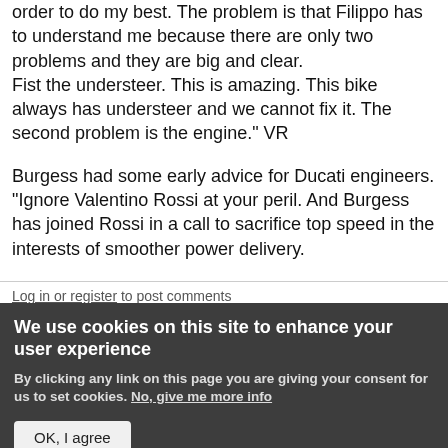order to do my best. The problem is that Filippo has to understand me because there are only two problems and they are big and clear. Fist the understeer. This is amazing. This bike always has understeer and we cannot fix it. The second problem is the engine." VR
Burgess had some early advice for Ducati engineers. "Ignore Valentino Rossi at your peril. And Burgess has joined Rossi in a call to sacrifice top speed in the interests of smoother power delivery.
Log in or register to post comments
We use cookies on this site to enhance your user experience
By clicking any link on this page you are giving your consent for us to set cookies. No, give me more info
OK, I agree